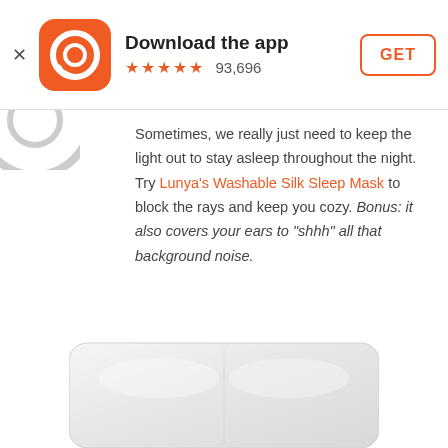Download the app ★★★★★ 93,696 GET
[Figure (screenshot): Partial orange circular app icon at top left of content area]
Sometimes, we really just need to keep the light out to stay asleep throughout the night. Try Lunya's Washable Silk Sleep Mask to block the rays and keep you cozy. Bonus: it also covers your ears to "shhh" all that background noise.
Photo credit: Lunya.co
[Figure (photo): Product photo of a white/light grey silk sleep mask on a white background, partially visible at bottom of page]